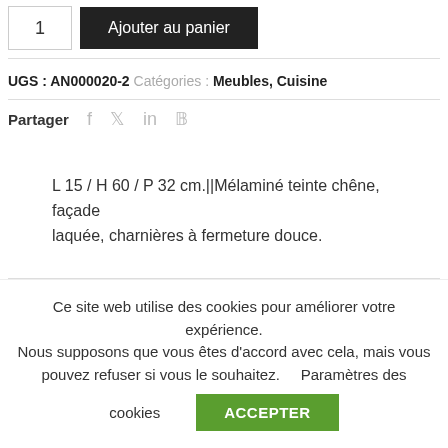1   Ajouter au panier
UGS : AN000020-2   Catégories : Meubles, Cuisine
Partager   f   🐦   in   𝕡
L 15 / H 60 / P 32 cm.||Mélaminé teinte chêne, façade laquée, charnières à fermeture douce.
Ce site web utilise des cookies pour améliorer votre expérience. Nous supposons que vous êtes d'accord avec cela, mais vous pouvez refuser si vous le souhaitez.    Paramètres des cookies   ACCEPTER